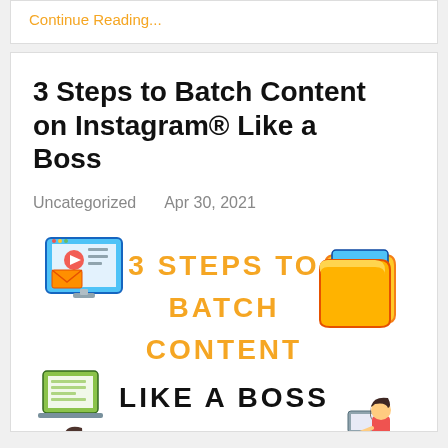Continue Reading...
3 Steps to Batch Content on Instagram® Like a Boss
Uncategorized    Apr 30, 2021
[Figure (infographic): Infographic with orange bold text reading '3 STEPS TO BATCH CONTENT LIKE A BOSS' with cartoon icons of devices, documents, and people around the text]